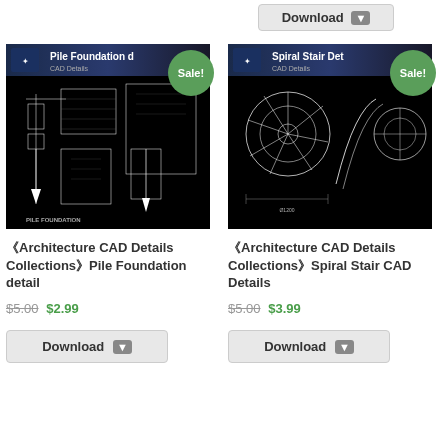[Figure (screenshot): Download button at top center of page]
[Figure (engineering-diagram): Pile Foundation CAD details product thumbnail with Sale badge]
《Architecture CAD Details Collections》Pile Foundation detail
$5.00 $2.99
[Figure (screenshot): Download button for Pile Foundation product]
[Figure (engineering-diagram): Spiral Stair CAD Details product thumbnail with Sale badge]
《Architecture CAD Details Collections》Spiral Stair CAD Details
$5.00 $3.99
[Figure (screenshot): Download button for Spiral Stair product]